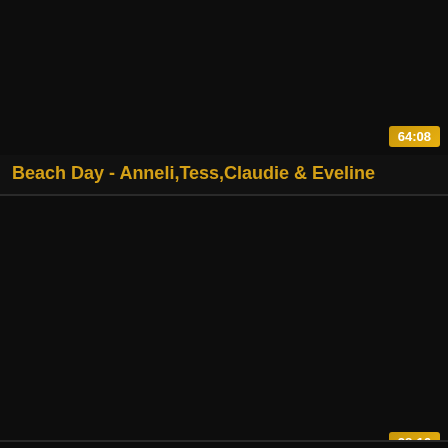[Figure (screenshot): Dark video thumbnail for Beach Day video]
64:08
Beach Day - Anneli,Tess,Claudie & Eveline
[Figure (screenshot): Dark video thumbnail for Huge breast mature video]
28:16
Huge breast mature
[Figure (screenshot): Dark video thumbnail partially visible at bottom]